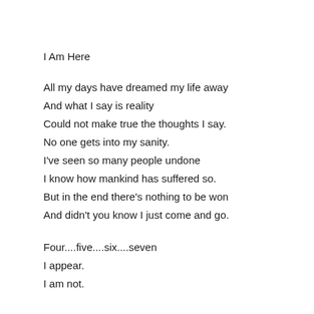I Am Here
All my days have dreamed my life away
And what I say is reality
Could not make true the thoughts I say.
No one gets into my sanity.
I've seen so many people undone
I know how mankind has suffered so.
But in the end there's nothing to be won
And didn't you know I just come and go.
Four....five....six....seven
I appear.
I am not.